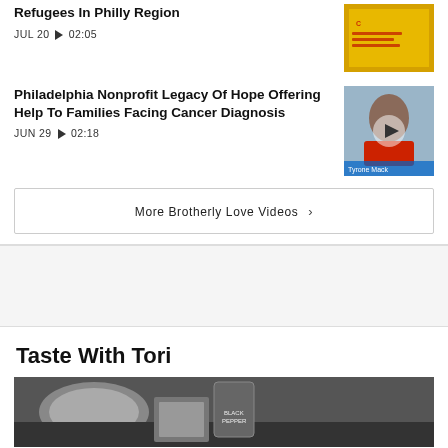Refugees In Philly Region
JUL 20  ▶ 02:05
Philadelphia Nonprofit Legacy Of Hope Offering Help To Families Facing Cancer Diagnosis
JUN 29  ▶ 02:18
More Brotherly Love Videos ›
Taste With Tori
[Figure (photo): Cooking scene with kitchen appliances including a slow cooker or instant pot and a spice container labeled BLACK PEPPER]